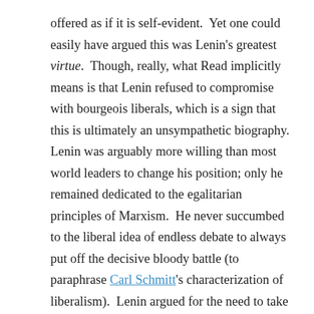offered as if it is self-evident.  Yet one could easily have argued this was Lenin's greatest virtue.  Though, really, what Read implicitly means is that Lenin refused to compromise with bourgeois liberals, which is a sign that this is ultimately an unsympathetic biography.  Lenin was arguably more willing than most world leaders to change his position; only he remained dedicated to the egalitarian principles of Marxism.  He never succumbed to the liberal idea of endless debate to always put off the decisive bloody battle (to paraphrase Carl Schmitt's characterization of liberalism).  Lenin argued for the need to take things to the end.  In the neoliberal era (the period in which Read's book was published), the essence of the dominant political ideology is destroying collective structures which may impede pure market logic.  Surely no one would disagree that Lenin's goal was precisely the